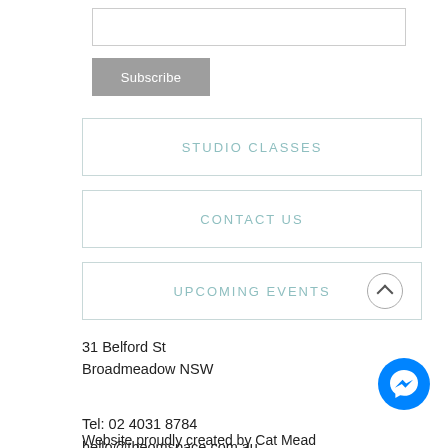[input box]
Subscribe
STUDIO CLASSES
CONTACT US
UPCOMING EVENTS
31 Belford St
Broadmeadow NSW

Tel: 02 4031 8784
hello@theomspace.com.au

© 2022
Website proudly created by Cat Mead
[Figure (logo): Facebook Messenger circular blue icon]